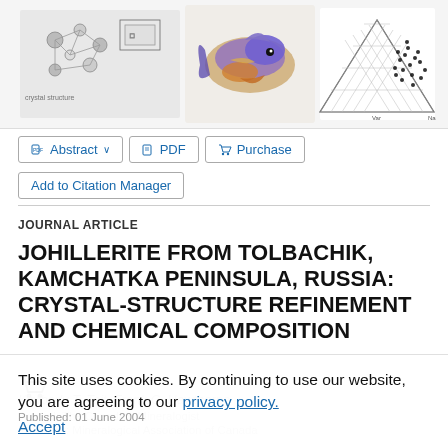[Figure (illustration): Top strip showing scientific figures: crystal structure diagrams on left, colorful fish/specimen photo in center, and triangular ternary diagram with data points on right]
Abstract ∨   PDF   Purchase
Add to Citation Manager
JOURNAL ARTICLE
JOHILLERITE FROM TOLBACHIK, KAMCHATKA PENINSULA, RUSSIA: CRYSTAL-STRUCTURE REFINEMENT AND CHEMICAL COMPOSITION
Kimberly T. Tait, Frank C. Hawthorne
Journal: The Canadian Mineralogist
Publisher: Mineralogical Association of Canada
Published: 01 June 2004
This site uses cookies. By continuing to use our website, you are agreeing to our privacy policy. Accept